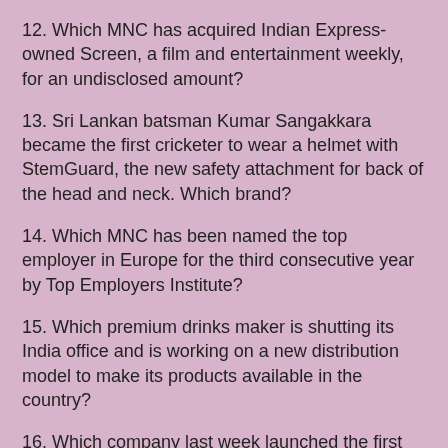12. Which MNC has acquired Indian Express-owned Screen, a film and entertainment weekly, for an undisclosed amount?
13. Sri Lankan batsman Kumar Sangakkara became the first cricketer to wear a helmet with StemGuard, the new safety attachment for back of the head and neck. Which brand?
14. Which MNC has been named the top employer in Europe for the third consecutive year by Top Employers Institute?
15. Which premium drinks maker is shutting its India office and is working on a new distribution model to make its products available in the country?
16. Which company last week launched the first India-made Rotavirus vaccine?
17. Which company is set to take over Total hypermarkets owned by Jubilant Retail in a tuck-in acquisition deal?